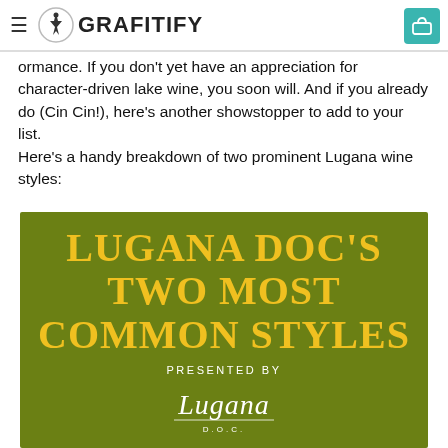GRAFITIFY
ormance. If you don't yet have an appreciation for character-driven lake wine, you soon will. And if you already do (Cin Cin!), here's another showstopper to add to your list.
Here's a handy breakdown of two prominent Lugana wine styles:
[Figure (infographic): Green background infographic with text: LUGANA DOC'S TWO MOST COMMON STYLES, PRESENTED BY, Lugana DOC logo in white script]